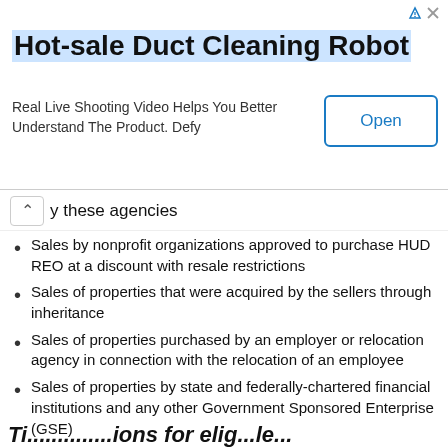[Figure (other): Advertisement banner for Hot-sale Duct Cleaning Robot with an Open button]
y these agencies
Sales by nonprofit organizations approved to purchase HUD REO at a discount with resale restrictions
Sales of properties that were acquired by the sellers through inheritance
Sales of properties purchased by an employer or relocation agency in connection with the relocation of an employee
Sales of properties by state and federally-chartered financial institutions and any other Government Sponsored Enterprise (GSE)
Sales of properties by local and state government agencies
Sales of properties located in Presidentially Declared Disaster Areas, but only upon announcement by HUD through the issuance of a Mortgage Letter
Ti...ions for elig...le...